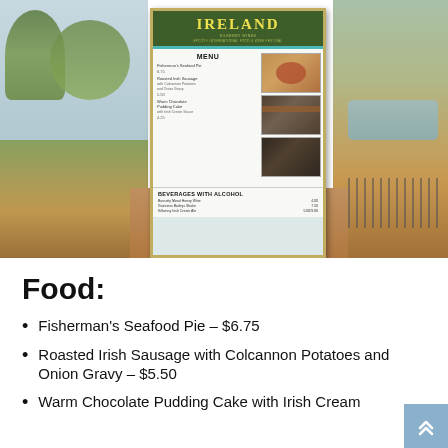[Figure (photo): Photo of an Ireland booth sign at EPCOT International Food & Wine Festival, showing a menu board with food items and prices, food photographs, and a beverages with alcohol section. The sign is set in an outdoor theme park environment with trees and walkways visible.]
Food:
Fisherman's Seafood Pie – $6.75
Roasted Irish Sausage with Colcannon Potatoes and Onion Gravy – $5.50
Warm Chocolate Pudding Cake with Irish Cream